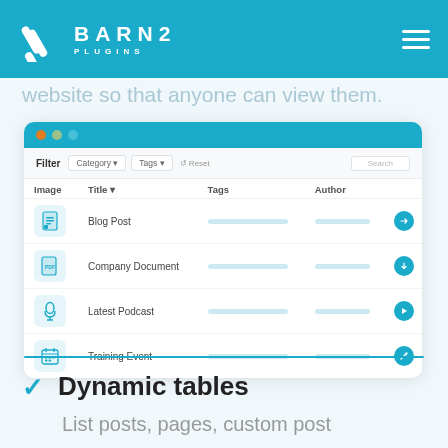BARN2 PLUGINS
website so that anyone can view them.
[Figure (screenshot): A document library plugin mockup showing a table with columns Image, Title, Tags, Author. Rows include Blog Post, Company Document, Latest Podcast, Training Event with icons and action buttons. Filter bar with Category, Tags, Reset, and Search controls shown above.]
Dynamic tables
List posts, pages, custom post